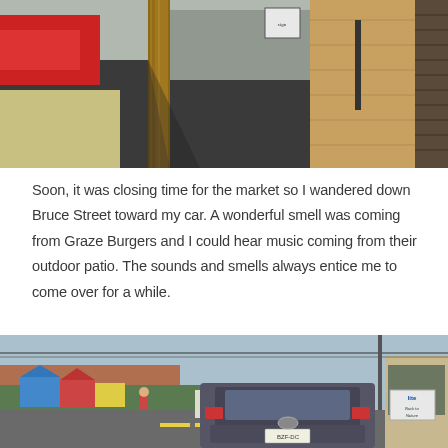[Figure (photo): Street-level photo of a sidewalk in a small town, showing a wooden utility pole in the foreground, dark pavement, a plywood-covered building facade on the right, and a street scene in the background with a small sign visible.]
Soon, it was closing time for the market so I wandered down Bruce Street toward my car. A wonderful smell was coming from Graze Burgers and I could hear music coming from their outdoor patio. The sounds and smells always entice me to come over for a while.
[Figure (photo): Street scene showing a main street with cars parked and driving, colorful market tents visible on the left side, storefronts on the right including one with a Miller Lite sign, and a Nissan sedan in the center foreground viewed from behind.]